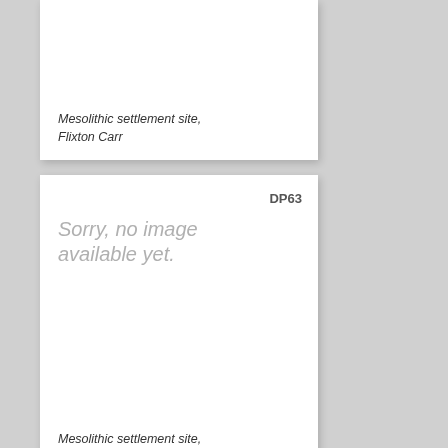[Figure (other): Card with no image placeholder showing 'Mesolithic settlement site, Flixton Carr' caption, top card partially visible]
Mesolithic settlement site, Flixton Carr
[Figure (other): Card DP63 with no image placeholder showing 'Sorry, no image available yet.' and caption 'Mesolithic settlement site, Flixton Carr']
Mesolithic settlement site, Flixton Carr
[Figure (other): Card LH49 with no image placeholder showing 'Sorry, no image available yet.' - partially visible at bottom]